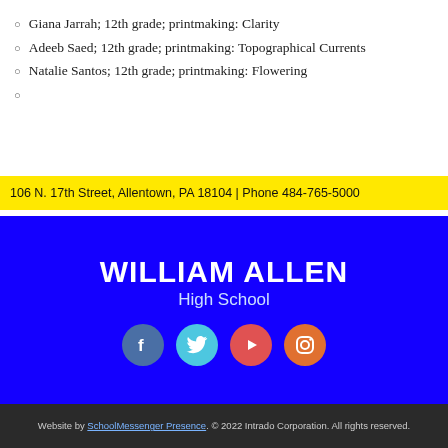Giana Jarrah; 12th grade; printmaking: Clarity
Adeeb Saed; 12th grade; printmaking: Topographical Currents
Natalie Santos; 12th grade; printmaking: Flowering
106 N. 17th Street, Allentown, PA 18104 | Phone 484-765-5000
WILLIAM ALLEN High School
[Figure (infographic): Social media icons: Facebook (blue-gray circle), Twitter (teal circle), YouTube (red circle), Instagram (orange circle)]
Website by SchoolMessenger Presence. © 2022 Intrado Corporation. All rights reserved.